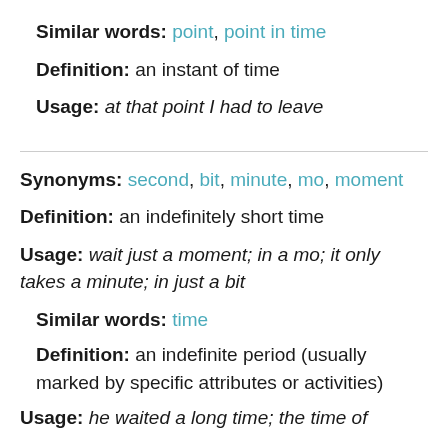Similar words: point, point in time
Definition: an instant of time
Usage: at that point I had to leave
Synonyms: second, bit, minute, mo, moment
Definition: an indefinitely short time
Usage: wait just a moment; in a mo; it only takes a minute; in just a bit
Similar words: time
Definition: an indefinite period (usually marked by specific attributes or activities)
Usage: he waited a long time; the time of